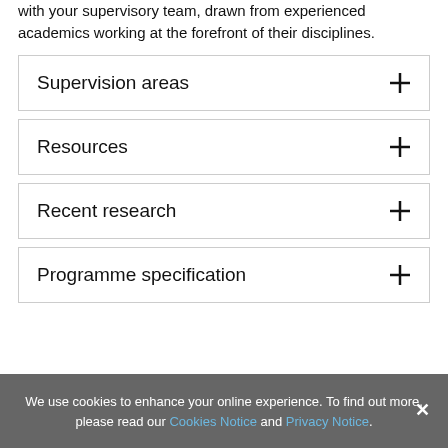with your supervisory team, drawn from experienced academics working at the forefront of their disciplines.
Supervision areas
Resources
Recent research
Programme specification
We use cookies to enhance your online experience. To find out more, please read our Cookies Notice and Privacy Notice.